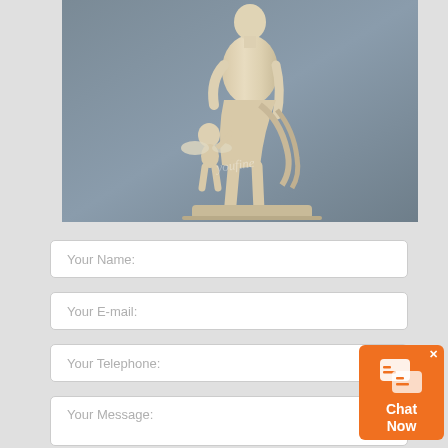[Figure (photo): A cream/ivory colored classical marble statue of Venus (female figure) with a small winged Cupid/cherub at her side, displayed against a gray background. A watermark reading 'youfine' is visible on the statue.]
Your Name:
Your E-mail:
Your Telephone:
Your Message:
[Figure (other): Orange chat widget button in bottom right corner with a chat bubble icon and text 'Chat Now', with an X close button.]